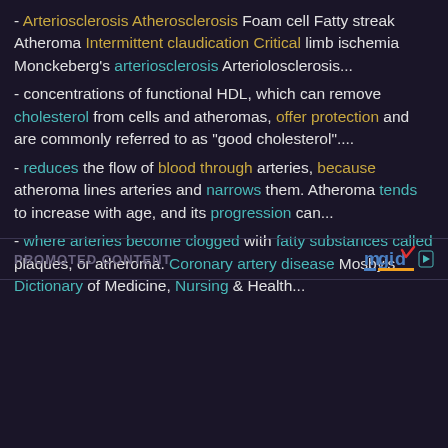- Arteriosclerosis Atherosclerosis Foam cell Fatty streak Atheroma Intermittent claudication Critical limb ischemia Monckeberg's arteriosclerosis Arteriolosclerosis...
- concentrations of functional HDL, which can remove cholesterol from cells and atheromas, offer protection and are commonly referred to as "good cholesterol"....
- reduces the flow of blood through arteries, because atheroma lines arteries and narrows them. Atheroma tends to increase with age, and its progression can...
- where arteries become clogged with fatty substances called plaques, or atheroma. Coronary artery disease Mosby's Dictionary of Medicine, Nursing & Health...
PROMOTED CONTENT